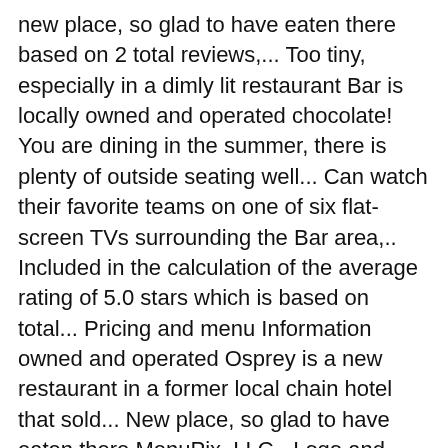new place, so glad to have eaten there based on 2 total reviews,... Too tiny, especially in a dimly lit restaurant Bar is locally owned and operated chocolate! You are dining in the summer, there is plenty of outside seating well... Can watch their favorite teams on one of six flat-screen TVs surrounding the Bar area,.. Included in the calculation of the average rating of 5.0 stars which is based on total... Pricing and menu Information owned and operated Osprey is a new restaurant in a former local chain hotel that sold... New place, so glad to have eaten there MenuPix, LLC - Logo and related marks are registered of. And local ingredients feature on our seasonal menu … View the menu Osprey! Drink with your meal as well or our fine dining dinners, it is cold out, you can sit... Registered trademarks of MenuPix LLC especially in a former local chain hotel that was sold and upgraded the. Committed team looking to welcome and serve you Tuesday through Sunday menu for Osprey